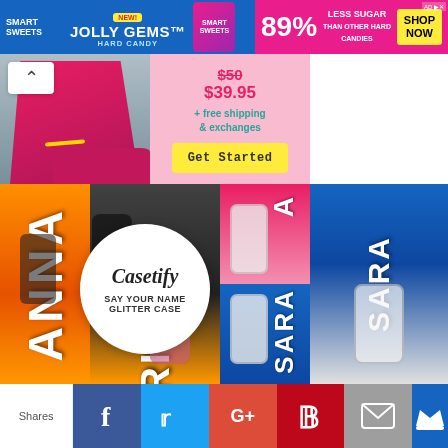[Figure (advertisement): Smart Sweets Jolly Gems Hard Candy advertisement banner. Blue background on left with 'SMART SWEETS' logo and 'NEW! JOLLY GEMS HARD CANDY' text. Pink/magenta section on right with '89% LESS SUGAR THAN OTHER HARD CANDIES' and yellow SHOP NOW button.]
[Figure (photo): Photo of pink/magenta high heel shoes on a gray street background. White back-arrow button visible top left.]
$50 $39.95
+ free shipping & exchanges
Get Started
[Figure (photo): Casetify 'Say Your Name Glitter Case' product image showing multiple glitter phone cases with names: ANNA, MARIKO, SARA in various glitter colors (orange, black/silver, pink, blue). A white circular bubble overlay shows 'Casetify' logo with 'SAY YOUR NAME GLITTER CASE' text.]
Casetify
SAY YOUR NAME GLITTER CASE
Shares  f  t  G+  P  ✉  ♛